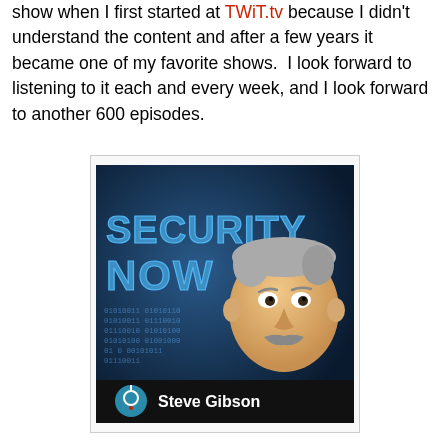show when I first started at TWiT.tv because I didn't understand the content and after a few years it became one of my favorite shows.  I look forward to listening to it each and every week, and I look forward to another 600 episodes.
[Figure (illustration): Security Now podcast artwork featuring large bold text 'SECURITY NOW' on a dark blue background with binary code, and an illustrated caricature of Steve Gibson (older man with grey hair and mustache). Bottom bar reads 'Steve Gibson' with a GRC logo.]